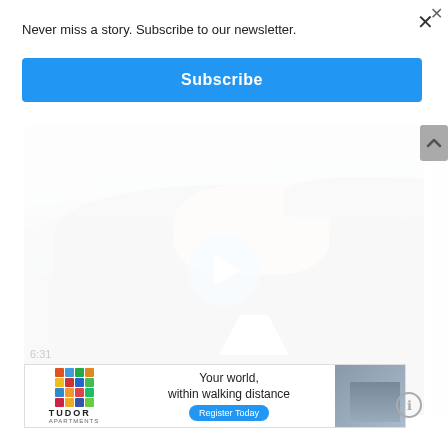Never miss a story. Subscribe to our newsletter.
Subscribe
[Figure (screenshot): Video thumbnail showing a person in a dark blazer standing in what appears to be a lobby or conference area, with a blue play button overlay in the center.]
[Figure (photo): Advertisement for Tudor Apartments: Your world, within walking distance. Register Today.]